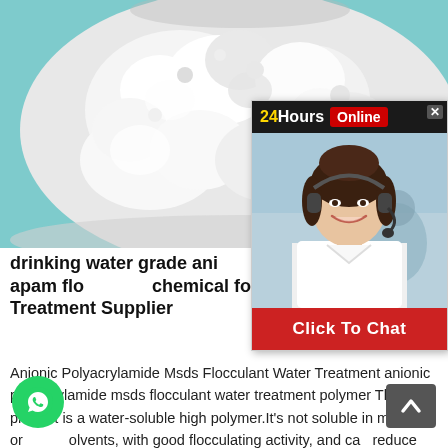[Figure (photo): White powder in a glass bowl on a teal/blue background - polyacrylamide product photo]
[Figure (screenshot): 24Hours Online chat widget overlay with a smiling female customer service agent wearing a headset. Header bar shows '24Hours' in yellow/white on dark background and 'Online' in red badge. Bottom has red 'Click To Chat' button.]
drinking water grade anionic polyacrylamide apam flocculant chemical for uae market Water Treatment Supplier
Anionic Polyacrylamide Msds Flocculant Water Treatment anionic polyacrylamide msds flocculant water treatment polymer This product is a water-soluble high polymer.It's not soluble in most organic solvents, with good flocculating activity, and can reduce the friction resistance between liquid.